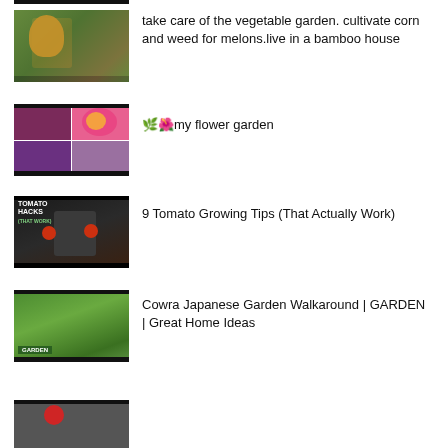[Figure (screenshot): Partial black top thumbnail bar at top of page]
[Figure (screenshot): Thumbnail of person in garden with vegetable/corn garden scene]
take care of the vegetable garden. cultivate corn and weed for melons.live in a bamboo house
[Figure (screenshot): Collage thumbnail of flower garden with pink flowers]
🌿🌺my flower garden
[Figure (screenshot): Tomato Hacks (That Work) thumbnail with man holding tomatoes]
9 Tomato Growing Tips (That Actually Work)
[Figure (screenshot): Cowra Japanese Garden aerial view thumbnail with GARDEN label]
Cowra Japanese Garden Walkaround | GARDEN | Great Home Ideas
[Figure (screenshot): Partial thumbnail visible at bottom of page with red element]